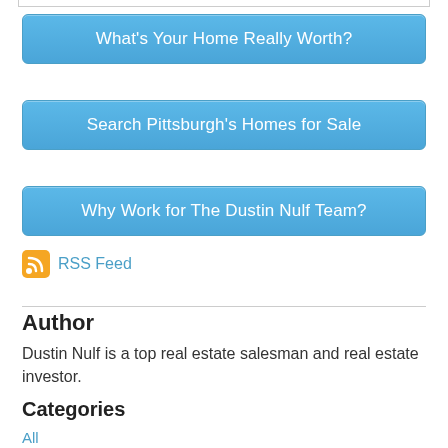[Figure (screenshot): Top border/bar element from a webpage]
What's Your Home Really Worth?
Search Pittsburgh's Homes for Sale
Why Work for The Dustin Nulf Team?
RSS Feed
Author
Dustin Nulf is a top real estate salesman and real estate investor.
Categories
All
1 Bath
1 BR
2 Bath